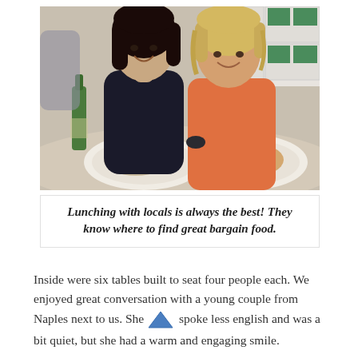[Figure (photo): Two women sitting at a restaurant table smiling at the camera, with plates of food in front of them. One woman has dark hair, the other is blonde wearing an orange top. Green-tiled wall visible in background.]
Lunching with locals is always the best! They know where to find great bargain food.
Inside were six tables built to seat four people each. We enjoyed great conversation with a young couple from Naples next to us. She spoke less english and was a bit quiet, but she had a warm and engaging smile.